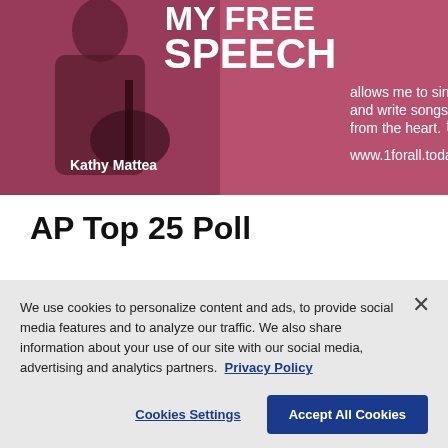[Figure (illustration): Advertisement image with pink/rose tint showing a woman holding a guitar. Text reads 'MY FREE SPEECH allows me to sing and write songs from the heart.' with 'Kathy Mattea' and 'www.1forall.today']
AP Top 25 Poll
We use cookies to personalize content and ads, to provide social media features and to analyze our traffic. We also share information about your use of our site with our social media, advertising and analytics partners. Privacy Policy